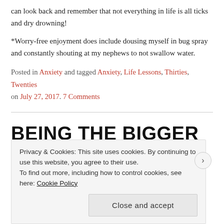can look back and remember that not everything in life is all ticks and dry drowning!
*Worry-free enjoyment does include dousing myself in bug spray and constantly shouting at my nephews to not swallow water.
Posted in Anxiety and tagged Anxiety, Life Lessons, Thirties, Twenties on July 27, 2017. 7 Comments
BEING THE BIGGER PERSON
Privacy & Cookies: This site uses cookies. By continuing to use this website, you agree to their use.
To find out more, including how to control cookies, see here: Cookie Policy
Close and accept